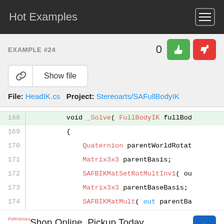Hot Examples
EXAMPLE #24
File: HeadIK.cs   Project: Stereoarts/SAFullBodyIK
[Figure (screenshot): Code viewer showing lines 168-174 of HeadIK.cs with syntax highlighting. Line 168 highlighted in green: void _Solve( FullBodyIK fullBody... Line 169: {. Line 170: Quaternion parentWorldRotat... Line 171: Matrix3x3 parentBasis; Line 172: SAFBIKMatSetRotMultInv1( ou... Line 173: Matrix3x3 parentBaseBasis; Line 174: SAFBIKMatMult( out parentBa...]
Shop Online, Pickup Today
World Market